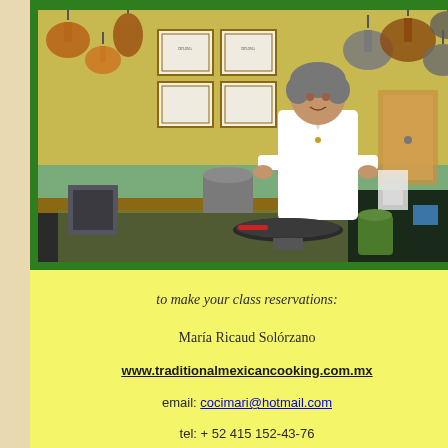[Figure (photo): A woman in a white chef's coat standing in a traditional Mexican kitchen with copper pots hanging on the walls, framed certificates on a yellow wall, and a comal on a portable burner on the table in front of her.]
to make your class reservations:
María Ricaud Solórzano
www.traditionalmexicancooking.com.mx
email: cocimari@hotmail.com
tel: + 52 415 152-43-76
Calle de la Luz #12 in San Antonio
San Miguel de Allende, Gto., Mexico